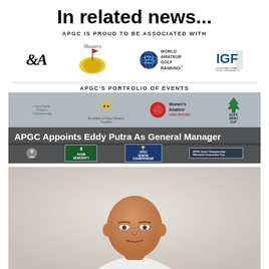In related news...
APGC IS PROUD TO BE ASSOCIATED WITH
[Figure (logo): Four logos in a row: R&A, Masters Tournament, World Amateur Golf Ranking, International Golf Federation (IGF)]
APGC'S PORTFOLIO OF EVENTS
[Figure (screenshot): Banner showing APGC portfolio of events logos including Asia-Pacific Amateur Championship, Bonallack & Patsy Hankins Trophies, Women's Amateur Asia Pacific, Queen Sirikit Cup, and others, with overlay headline 'APGC Appoints Eddy Putra As General Manager']
[Figure (photo): Portrait photo of a bald middle-aged man wearing glasses and a white shirt, looking at the camera against a light background]